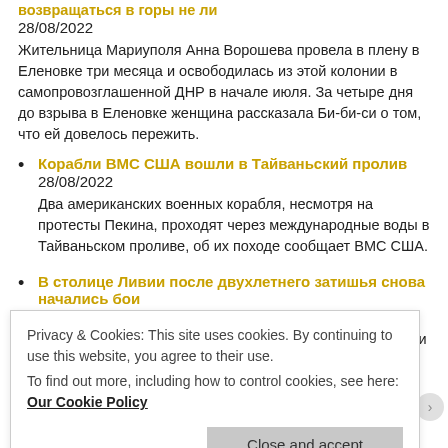возвращаться в горы не ли
28/08/2022
Жительница Мариуполя Анна Ворошева провела в плену в Еленовке три месяца и освободилась из этой колонии в самопровозглашенной ДНР в начале июля. За четыре дня до взрыва в Еленовке женщина рассказала Би-би-си о том, что ей довелось пережить.
Корабли ВМС США вошли в Тайваньский пролив
28/08/2022
Два американских военных корабля, несмотря на протесты Пекина, проходят через международные воды в Тайваньском проливе, об их походе сообщает ВМС США.
В столице Ливии после двухлетнего затишья снова начались бои
28/08/2022
Противоборствующие политические группировки в Ливии в субботу вели бои в Триполи - самые ожесточенные за последние два года. Миссия ООН призвала к немедленному прекращению
Privacy & Cookies: This site uses cookies. By continuing to use this website, you agree to their use.
To find out more, including how to control cookies, see here: Our Cookie Policy
Close and accept